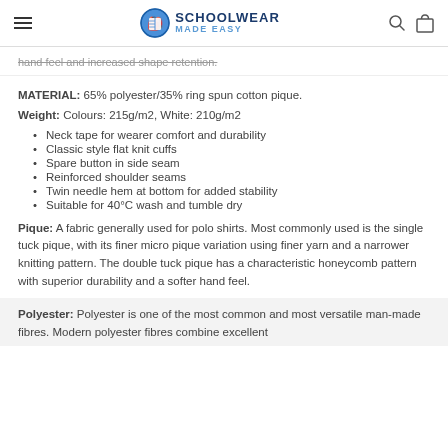Schoolwear Made Easy
hand feel and increased shape retention.
MATERIAL: 65% polyester/35% ring spun cotton pique.
Weight: Colours: 215g/m2, White: 210g/m2
Neck tape for wearer comfort and durability
Classic style flat knit cuffs
Spare button in side seam
Reinforced shoulder seams
Twin needle hem at bottom for added stability
Suitable for 40°C wash and tumble dry
Pique: A fabric generally used for polo shirts. Most commonly used is the single tuck pique, with its finer micro pique variation using finer yarn and a narrower knitting pattern. The double tuck pique has a characteristic honeycomb pattern with superior durability and a softer hand feel.
Polyester: Polyester is one of the most common and most versatile man-made fibres. Modern polyester fibres combine excellent